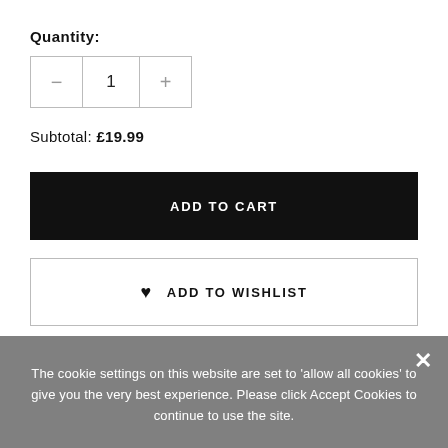Quantity:
[Figure (other): Quantity stepper control with minus button, number input showing 1, and plus button]
Subtotal: £19.99
ADD TO CART
♥ ADD TO WISHLIST
The cookie settings on this website are set to 'allow all cookies' to give you the very best experience. Please click Accept Cookies to continue to use the site.
ACCEPT COOKIES